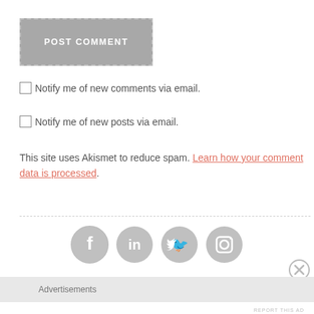[Figure (other): POST COMMENT button with dashed border and grey background]
Notify me of new comments via email.
Notify me of new posts via email.
This site uses Akismet to reduce spam. Learn how your comment data is processed.
[Figure (other): Social media icons: Facebook, LinkedIn, Twitter, Instagram — grey circles]
Advertisements
REPORT THIS AD